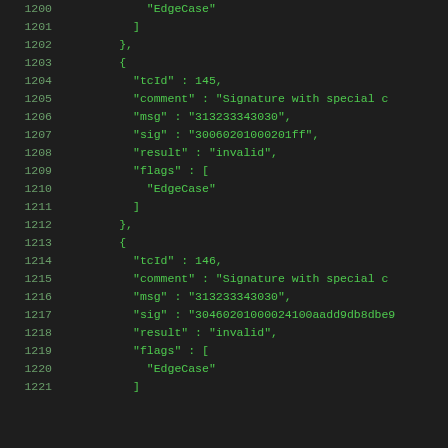Code listing lines 1200-1221 showing JSON test vector data with tcId 145 and 146 entries including EdgeCase flags